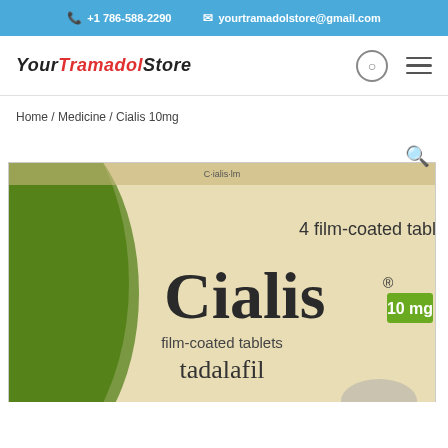+1 786-588-2290   yourtramadolstore@gmail.com
[Figure (logo): YourTramadolStore logo with 'Your' and 'Store' in black italic, 'Tramadol' in red italic]
Home / Medicine / Cialis 10mg
[Figure (photo): Cialis 10mg film-coated tablets tadalafil product box — green and cream/beige colored packaging showing brand name Cialis with 10mg in yellow-green badge, text '4 film-coated tablets' and 'tadalafil']